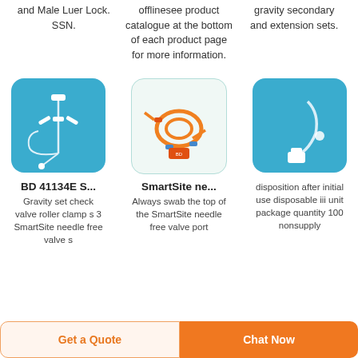and Male Luer Lock. SSN.
offlinesee product catalogue at the bottom of each product page for more information.
gravity secondary and extension sets.
[Figure (photo): IV set with white needle-free valve and tubing on blue background]
[Figure (photo): Orange IV tubing set with needle-free valves on white/light background]
[Figure (photo): Clear IV tubing with white connector on blue background]
BD 41134E S...
Gravity set check valve roller clamp s 3 SmartSite needle free valve s
SmartSite ne...
Always swab the top of the SmartSite needle free valve port
disposition after initial use disposable iii unit package quantity 100 nonsupply
Get a Quote
Chat Now